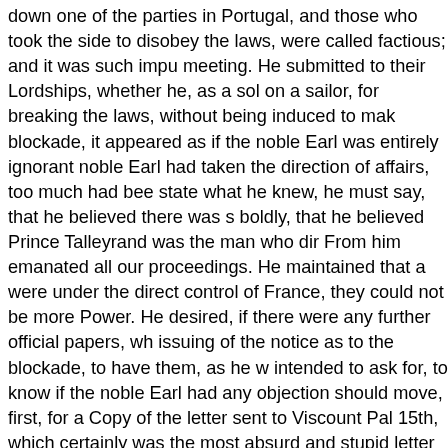down one of the parties in Portugal, and those who took the side to disobey the laws, were called factious; and it was such impu meeting. He submitted to their Lordships, whether he, as a sol on a sailor, for breaking the laws, without being induced to mak blockade, it appeared as if the noble Earl was entirely ignorant noble Earl had taken the direction of affairs, too much had bee state what he knew, he must say, that he believed there was s boldly, that he believed Prince Talleyrand was the man who dir From him emanated all our proceedings. He maintained that a were under the direct control of France, they could not be more Power. He desired, if there were any further official papers, wh issuing of the notice as to the blockade, to have them, as he w intended to ask for, to know if the noble Earl had any objection should move, first, for a Copy of the letter sent to Viscount Pal 15th, which certainly was the most absurd and stupid letter tha a Copy of any Communication touching the blockade of Portug State for Foreign Affairs before the 25th instant. The noble Ma trespassed so long on their Lordships' time, and was sitting do cries of "Move, move!" reminded the noble Lord, and he put his who put it from the Woolsack.